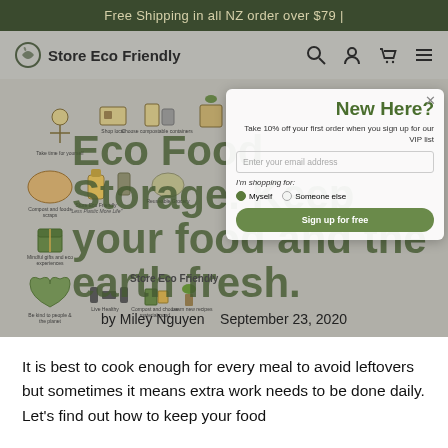Free Shipping in all NZ order over $79 |
[Figure (screenshot): Store Eco Friendly website navigation bar with logo, search, account, cart, and menu icons]
[Figure (infographic): Eco Food Storage hero section with large green headline text overlapping an infographic of eco-friendly living icons. Title: 'Eco Food Storage. Keep your food and the earth fresh.' by Miley Nguyen, September 23, 2020. A popup overlay shows 'New Here?' with 10% off VIP signup form.]
It is best to cook enough for every meal to avoid leftovers but sometimes it means extra work needs to be done daily. Let's find out how to keep your food